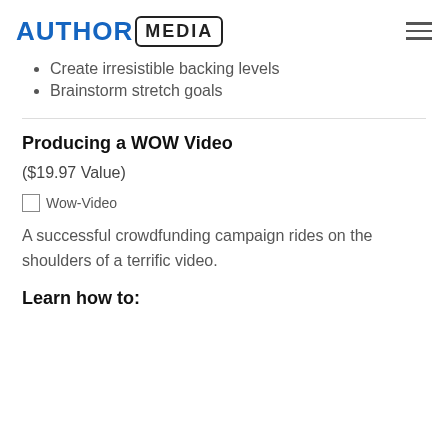AUTHOR MEDIA
Set an appropriate funding goal
Based on describe
Create irresistible backing levels
Brainstorm stretch goals
Producing a WOW Video
($19.97 Value)
[Figure (photo): Wow-Video image placeholder (broken image icon with alt text 'Wow-Video')]
A successful crowdfunding campaign rides on the shoulders of a terrific video.
Learn how to: